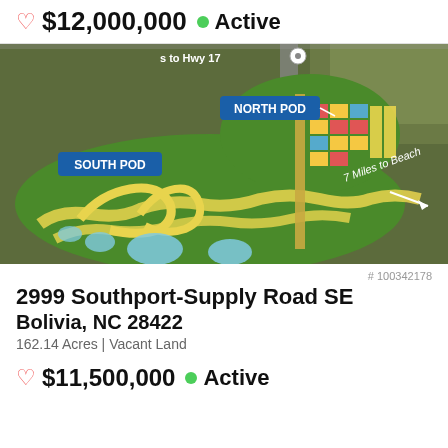♡ $12,000,000 • Active
[Figure (map): Aerial/satellite map overlay showing a large land development plan with labeled 'NORTH POD' and 'SOUTH POD' areas in green, with yellow lots, colored commercial blocks, ponds, and a label '7 Miles to Beach' with arrow. Text 'to Hwy 17' visible at top.]
# 100342178
2999 Southport-Supply Road SE
Bolivia, NC 28422
162.14 Acres | Vacant Land
♡ $11,500,000 • Active